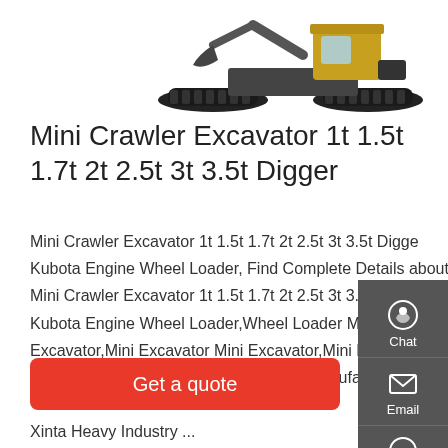[Figure (photo): Mini crawler excavator with yellow cab on tracked undercarriage, shown from side/rear angle on white background]
Mini Crawler Excavator 1t 1.5t 1.7t 2t 2.5t 3t 3.5t Digger
Mini Crawler Excavator 1t 1.5t 1.7t 2t 2.5t 3t 3.5t Digger Kubota Engine Wheel Loader, Find Complete Details about Mini Crawler Excavator 1t 1.5t 1.7t 2t 2.5t 3t 3.5t Digger Kubota Engine Wheel Loader,Wheel Loader Mini Kubota Excavator,Mini Excavator Mini Excavator,Mini Excavator Mini Excavator from Excavators Supplier or Manufacturer-Jining Xinta Heavy Industry ...
Get a quote